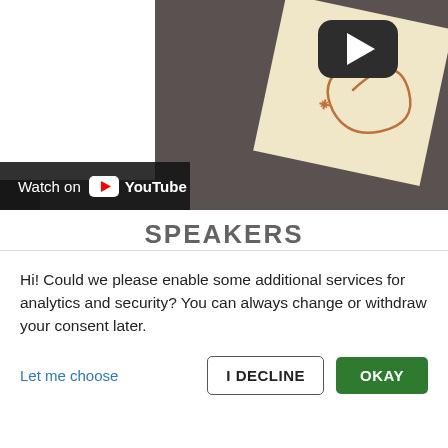[Figure (screenshot): YouTube video thumbnail with play button overlay and 'Watch on YouTube' bar at bottom left. Shows a sticky note on a dark brown background with a decorative swirl drawing.]
SPEAKERS
Hi! Could we please enable some additional services for analytics and security? You can always change or withdraw your consent later.
Let me choose
I DECLINE
OKAY